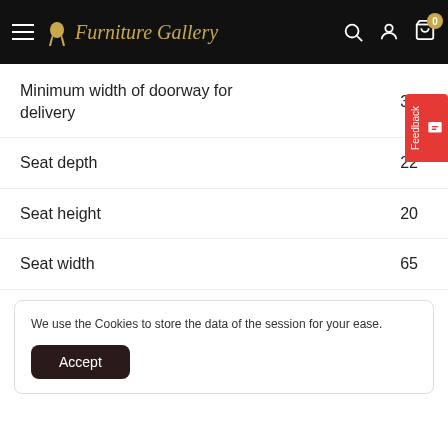Furniture Gallery
| Specification | Value |
| --- | --- |
| Minimum width of doorway for delivery | 32 |
| Seat depth | 22 |
| Seat height | 20 |
| Seat width | 65 |
We use the Cookies to store the data of the session for your ease.
Accept